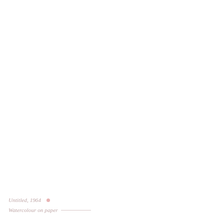Untitled, 1964 •
Watercolour on paper